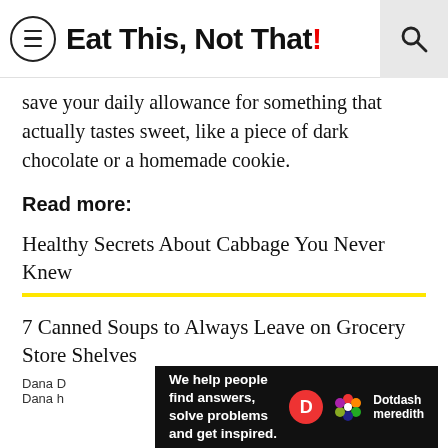Eat This, Not That!
save your daily allowance for something that actually tastes sweet, like a piece of dark chocolate or a homemade cookie.
Read more:
Healthy Secrets About Cabbage You Never Knew
7 Canned Soups to Always Leave on Grocery Store Shelves
The Unhealthiest Snacks On the Planet
Dana D... Dana h...
We help people find answers, solve problems and get inspired. Dotdash meredith